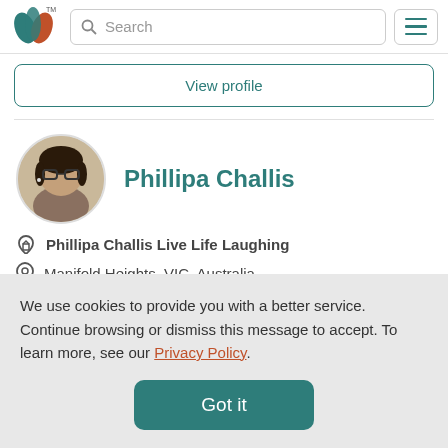[Figure (logo): Ancestry/genealogy website logo — stylized leaf/wheat icon in teal and orange with TM mark]
Search
[Figure (screenshot): Hamburger menu icon with three horizontal teal lines]
View profile
[Figure (photo): Circular avatar photo of Phillipa Challis, a woman with dark hair and glasses]
Phillipa Challis
Phillipa Challis Live Life Laughing
Manifold Heights, VIC, Australia
We use cookies to provide you with a better service. Continue browsing or dismiss this message to accept. To learn more, see our Privacy Policy.
Got it